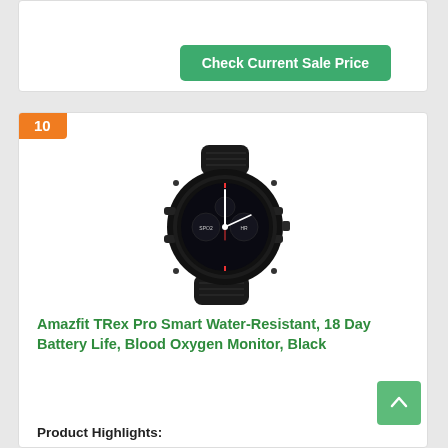Check Current Sale Price
[Figure (photo): Black Amazfit TRex Pro smartwatch with rubber strap and round face showing watch display]
Amazfit TRex Pro Smart Water-Resistant, 18 Day Battery Life, Blood Oxygen Monitor, Black
Product Highlights:
toughness from the inside out the amazfit t-rex pro comes with a 1.3" hd amoled always-on